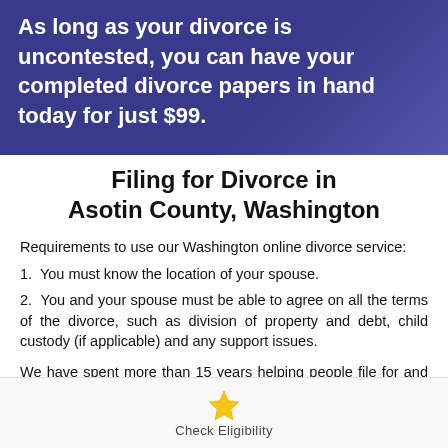As long as your divorce is uncontested, you can have your completed divorce papers in hand today for just $99.
Filing for Divorce in Asotin County, Washington
Requirements to use our Washington online divorce service:
1.  You must know the location of your spouse.
2.  You and your spouse must be able to agree on all the terms of the divorce, such as division of property and debt, child custody (if applicable) and any support issues.
We have spent more than 15 years helping people file for and complete their divorce. Unlike many other online divorce services
Check Eligibility